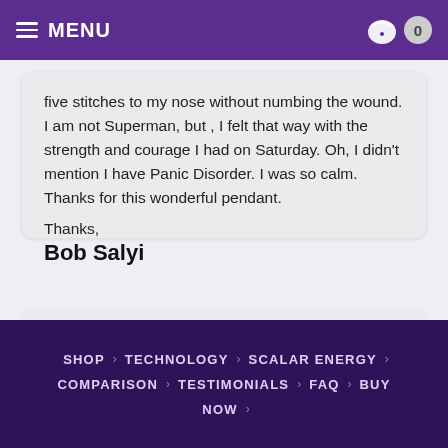MENU | 0
five stitches to my nose without numbing the wound. I am not Superman, but , I felt that way with the strength and courage I had on Saturday. Oh, I didn't mention I have Panic Disorder. I was so calm. Thanks for this wonderful pendant.
Thanks,
Bob Salyi
Thank you very much for replying so quickly, my head ache is gone now, left the pendant on through the
SHOP > TECHNOLOGY > SCALAR ENERGY > COMPARISON > TESTIMONIALS > FAQ > BUY NOW >